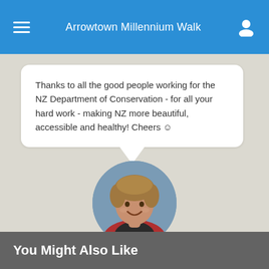Arrowtown Millennium Walk
Thanks to all the good people working for the NZ Department of Conservation - for all your hard work - making NZ more beautiful, accessible and healthy! Cheers ☺
[Figure (photo): Circular profile photo of Cymen Crick, a man with medium-length brownish hair, smiling, wearing a red jacket over a dark shirt, with a blue-grey background.]
Cymen Crick
Rankers Owner
You Might Also Like